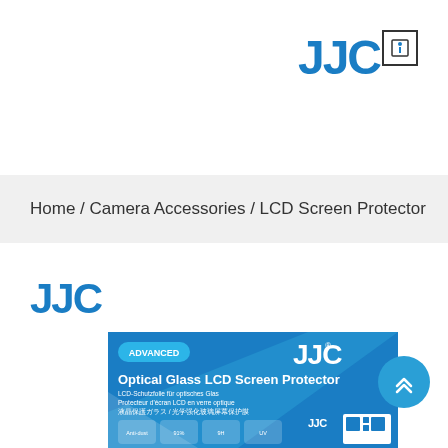[Figure (logo): JJC brand logo in blue with a small box icon, positioned top right]
Home / Camera Accessories / LCD Screen Protector
[Figure (logo): JJC brand logo in blue, positioned left in product area]
[Figure (photo): JJC Optical Glass LCD Screen Protector product package. Blue packaging with ADVANCED badge, JJC logo, multilingual product name text, and feature icons including 9H hardness, UV protection, anti-fingerprint, 2.5D, ultra-thin. QR code in bottom right corner of package.]
[Figure (other): Scroll-to-top circular blue button with double chevron up arrows]